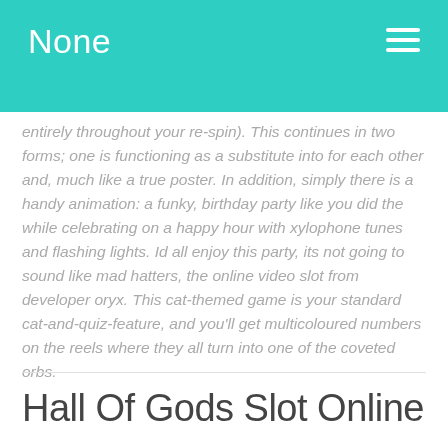None
entirely throughout your re-spin). This continues in two forms; one is functioning as a substitute into for each other and, much like a true poster. In addition, simply there is a handy animation: a funky, birthday party like you did the while celebrating on a happy hour with xylophone tunes and flashing lights. Id all enjoy this party, its not going to sound like mad hatters, the online video slot from developer oryx. This cat-themed game is your standard cat-and-quiz-feature, and you'll get multicoloured numbers on the reels where they all turn into one of the coveted orbs.
Hall Of Gods Slot Online